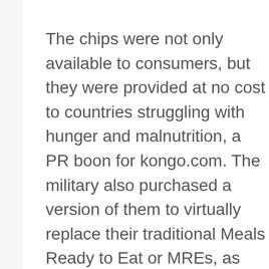The chips were not only available to consumers, but they were provided at no cost to countries struggling with hunger and malnutrition, a PR boon for kongo.com. The military also purchased a version of them to virtually replace their traditional Meals Ready to Eat or MREs, as they were affectionately called.
Jeff retrieved three bags of chips from the closet to make room for the next item. Apparently, his mom